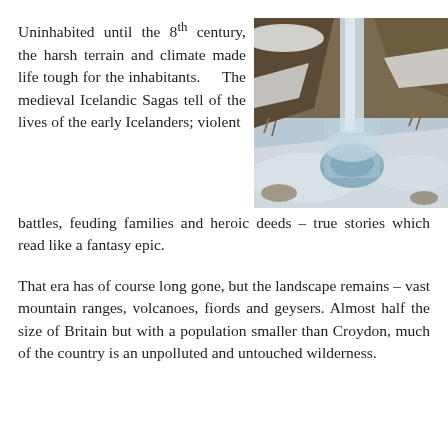Uninhabited until the 8th century, the harsh terrain and climate made life tough for the inhabitants. The medieval Icelandic Sagas tell of the lives of the early Icelanders; violent battles, feuding families and heroic deeds – true stories which read like a fantasy epic.
[Figure (photo): A waterfall cascading into a snow-covered rocky landscape with frozen mist, photographed in Iceland.]
That era has of course long gone, but the landscape remains – vast mountain ranges, volcanoes, fiords and geysers. Almost half the size of Britain but with a population smaller than Croydon, much of the country is an unpolluted and untouched wilderness.